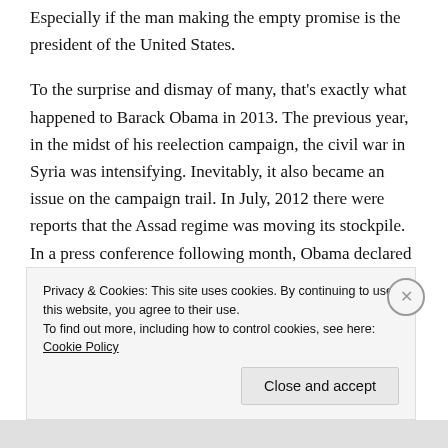Especially if the man making the empty promise is the president of the United States.
To the surprise and dismay of many, that's exactly what happened to Barack Obama in 2013. The previous year, in the midst of his reelection campaign, the civil war in Syria was intensifying. Inevitably, it also became an issue on the campaign trail. In July, 2012 there were reports that the Assad regime was moving its stockpile. In a press conference following month, Obama declared that the movement or use of chemical weapons by the Syrian
Privacy & Cookies: This site uses cookies. By continuing to use this website, you agree to their use.
To find out more, including how to control cookies, see here: Cookie Policy
Close and accept